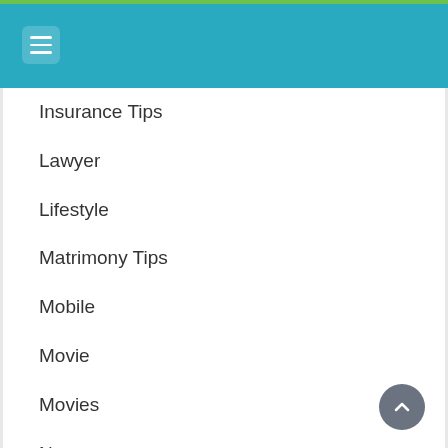Navigation menu header bar
Insurance Tips
Lawyer
Lifestyle
Matrimony Tips
Mobile
Movie
Movies
News
Online Money Making
Pets
Real Estate Tips